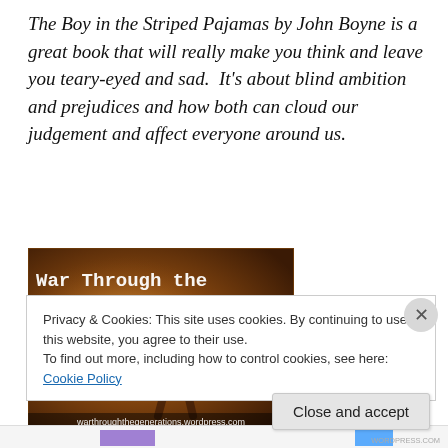The Boy in the Striped Pajamas by John Boyne is a great book that will really make you think and leave you teary-eyed and sad.  It's about blind ambition and prejudices and how both can cloud our judgement and affect everyone around us.
[Figure (illustration): Book challenge badge image with dark orange/brown background showing text 'War Through the Generations: WWII 2009 Challenge' in typewriter font with a silhouette figure, and URL 'warthroughthegenerations.wordpress.com' at bottom]
Privacy & Cookies: This site uses cookies. By continuing to use this website, you agree to their use.
To find out more, including how to control cookies, see here: Cookie Policy
Close and accept